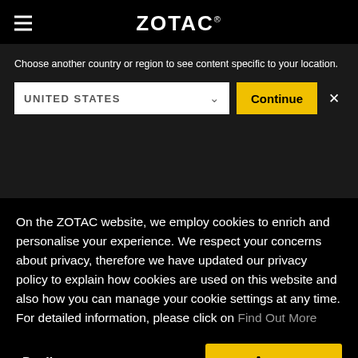ZOTAC
Choose another country or region to see content specific to your location.
UNITED STATES  Continue  ×
On the ZOTAC website, we employ cookies to enrich and personalise your experience. We respect your concerns about privacy, therefore we have updated our privacy policy to explain how cookies are used on this website and also how you can manage your cookie settings at any time. For detailed information, please click on Find Out More
Decline  Agree